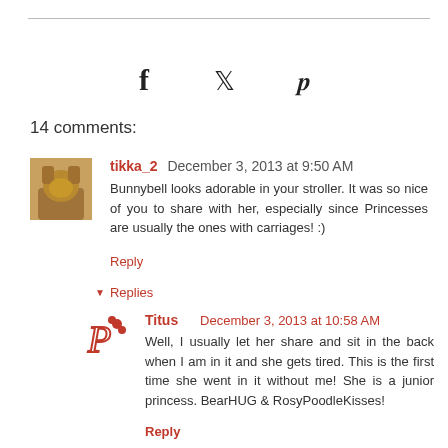[Figure (other): Horizontal rule separator line]
[Figure (other): Social media share icons: Facebook (f), Twitter (bird), Pinterest (P)]
14 comments:
[Figure (photo): Avatar photo of tikka_2 commenter - brown/golden colored pet photo]
tikka_2  December 3, 2013 at 9:50 AM
Bunnybell looks adorable in your stroller. It was so nice of you to share with her, especially since Princesses are usually the ones with carriages! :)
Reply
Replies
[Figure (logo): Titus commenter poodle logo icon]
Titus   December 3, 2013 at 10:58 AM
Well, I usually let her share and sit in the back when I am in it and she gets tired. This is the first time she went in it without me! She is a junior princess. BearHUG & RosyPoodleKisses!
Reply